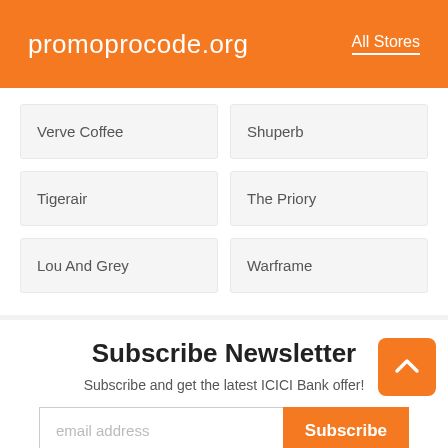promoprocode.org   All Stores
Verve Coffee
Shuperb
Tigerair
The Priory
Lou And Grey
Warframe
Subscribe Newsletter
Subscribe and get the latest ICICI Bank offer!
email address
Subscribe